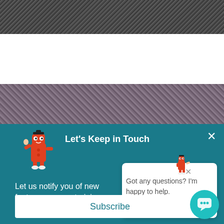[Figure (photo): Dark textured background photo at top of page]
[Figure (photo): Rocky/stone textured background photo in middle section]
Let's Keep in Touch
Let us notify you of new features, or new training you.
[Figure (illustration): Red cartoon character mascot (large) waving]
[Figure (illustration): Chat popup with small red mascot and text: Got any questions? I'm happy to help.]
Got any questions? I'm happy to help.
[Figure (illustration): Subscribe button on white background]
[Figure (illustration): Teal chat widget button in bottom right corner]